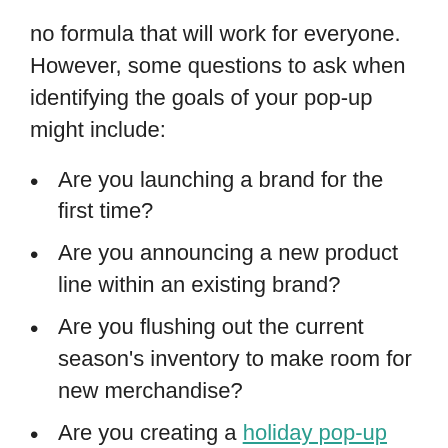no formula that will work for everyone. However, some questions to ask when identifying the goals of your pop-up might include:
Are you launching a brand for the first time?
Are you announcing a new product line within an existing brand?
Are you flushing out the current season's inventory to make room for new merchandise?
Are you creating a holiday pop-up shop for the holiday season?
Are you interested in testing new geographic regions in which to establish